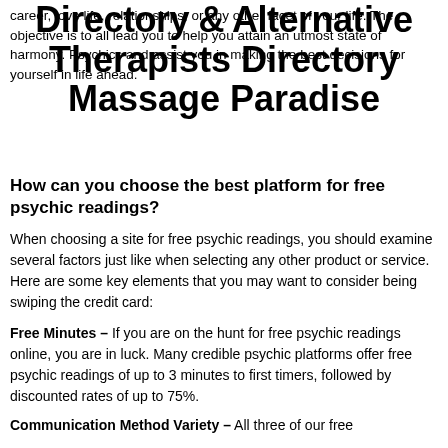Directory & Alternative Therapists Directory Massage Paradise
career, love life, relationships, or any other facet of your life. The objective is to all lead you to help you attain an utmost state of harmony. Psychics and assist you in making the best decisions for yourself in life ahead.
How can you choose the best platform for free psychic readings?
When choosing a site for free psychic readings, you should examine several factors just like when selecting any other product or service. Here are some key elements that you may want to consider being swiping the credit card:
Free Minutes – If you are on the hunt for free psychic readings online, you are in luck. Many credible psychic platforms offer free psychic readings of up to 3 minutes to first timers, followed by discounted rates of up to 75%.
Communication Method Variety – All three of our free